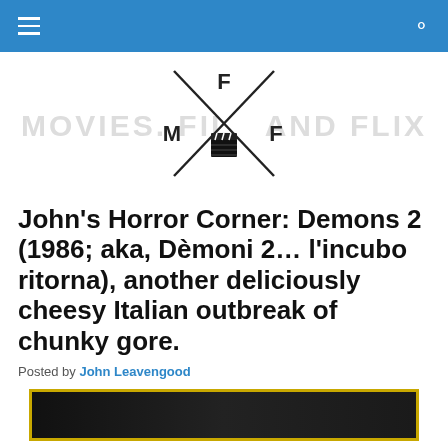Movies, Films and Flix (navigation bar)
[Figure (logo): Movies Films and Flix logo: stylized X with letters M, F, F and a clapperboard icon in the center, with watermark text MOVIES. FILMS AND FLIX in background]
John's Horror Corner: Demons 2 (1986; aka, Dèmoni 2… l'incubo ritorna), another deliciously cheesy Italian outbreak of chunky gore.
Posted by John Leavengood
[Figure (photo): Bottom portion of movie cover/image with dark background and gold/yellow border]